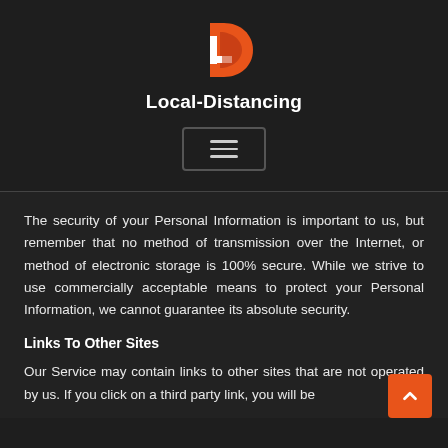[Figure (logo): Local-Distancing logo: a stylized D shape in salmon/orange-red color with a white L letter inside]
Local-Distancing
[Figure (other): Hamburger menu button with three horizontal lines, bordered square button]
The security of your Personal Information is important to us, but remember that no method of transmission over the Internet, or method of electronic storage is 100% secure. While we strive to use commercially acceptable means to protect your Personal Information, we cannot guarantee its absolute security.
Links To Other Sites
Our Service may contain links to other sites that are not operated by us. If you click on a third party link, you will be